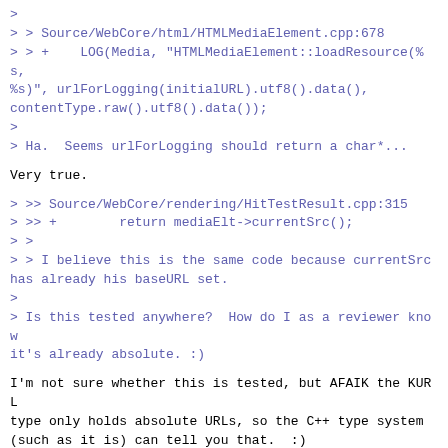>
> > Source/WebCore/html/HTMLMediaElement.cpp:678
> > +    LOG(Media, "HTMLMediaElement::loadResource(%s, %s)", urlForLogging(initialURL).utf8().data(), contentType.raw().utf8().data());
>
> Ha.  Seems urlForLogging should return a char*...
Very true.
> >> Source/WebCore/rendering/HitTestResult.cpp:315
> >> +        return mediaElt->currentSrc();
> >
> > I believe this is the same code because currentSrc has already his baseURL set.
>
> Is this tested anywhere?  How do I as a reviewer know it's already absolute. :)
I'm not sure whether this is tested, but AFAIK the KURL type only holds absolute URLs, so the C++ type system (such as it is) can tell you that.  :)
Adam Barth   2011-05-27 10:51:56 PDT
Comment 5
Created attachment 95190 [details]
Patch for landing